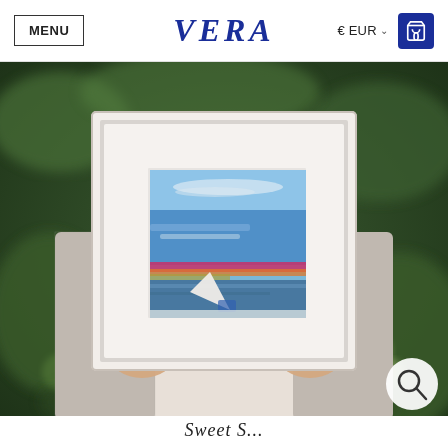MENU  VERA  € EUR  0
[Figure (photo): Person holding a white picture frame with a mat, containing an abstract painting with blue sky tones, magenta and orange horizontal strokes, and a white diagonal shape, photographed outdoors against green foliage background]
Sweet S...